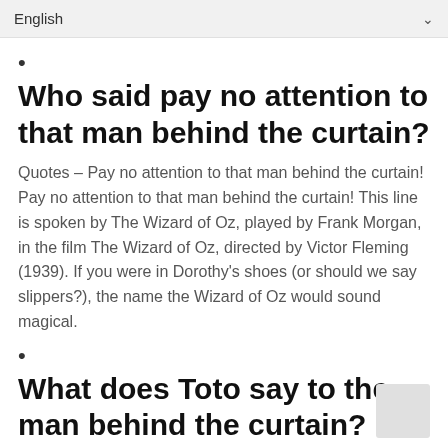English
•
Who said pay no attention to that man behind the curtain?
Quotes – Pay no attention to that man behind the curtain! Pay no attention to that man behind the curtain! This line is spoken by The Wizard of Oz, played by Frank Morgan, in the film The Wizard of Oz, directed by Victor Fleming (1939). If you were in Dorothy's shoes (or should we say slippers?), the name the Wizard of Oz would sound magical.
•
What does Toto say to the man behind the curtain?